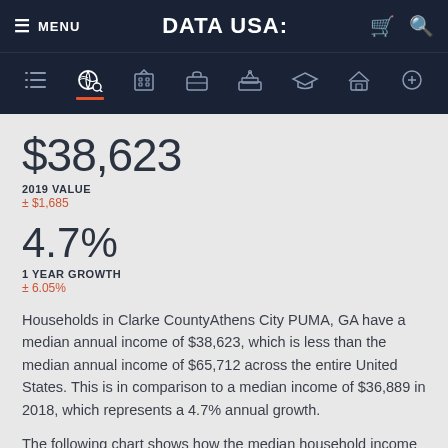MENU | DATA USA: | (cart) (search)
$38,623
2019 VALUE
± $1,685
4.7%
1 YEAR GROWTH
± 6.05%
Households in Clarke CountyAthens City PUMA, GA have a median annual income of $38,623, which is less than the median annual income of $65,712 across the entire United States. This is in comparison to a median income of $36,889 in 2018, which represents a 4.7% annual growth.
The following chart shows how the median household income in Clarke CountyAthens City PUMA, GA compares to that of its neighboring and parent geographies.